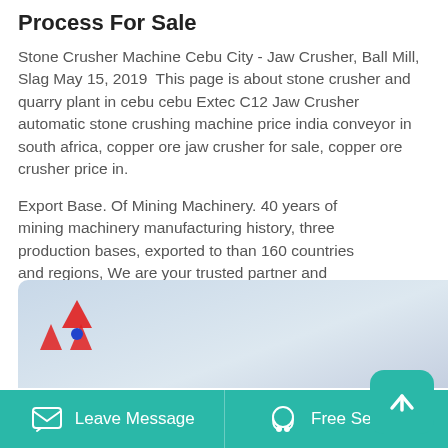Process For Sale
Stone Crusher Machine Cebu City - Jaw Crusher, Ball Mill, Slag May 15, 2019  This page is about stone crusher and quarry plant in cebu cebu Extec C12 Jaw Crusher automatic stone crushing machine price india conveyor in south africa, copper ore jaw crusher for sale, copper ore crusher price in.
Export Base. Of Mining Machinery. 40 years of mining machinery manufacturing history, three production bases, exported to than 160 countries and regions, We are your trusted partner and service provider. Explore .
[Figure (logo): Red mountain/triangle logo with blue dot]
Leave Message    Free Service